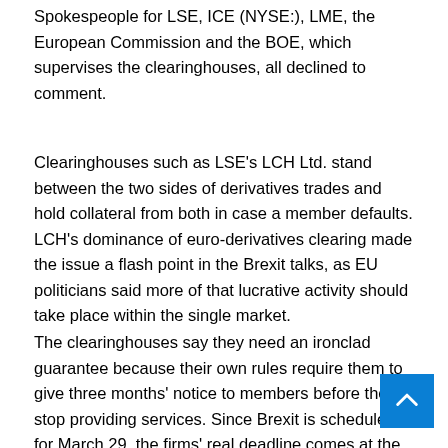Spokespeople for LSE, ICE (NYSE:), LME, the European Commission and the BOE, which supervises the clearinghouses, all declined to comment.
Clearinghouses such as LSE's LCH Ltd. stand between the two sides of derivatives trades and hold collateral from both in case a member defaults. LCH's dominance of euro-derivatives clearing made the issue a flash point in the Brexit talks, as EU politicians said more of that lucrative activity should take place within the single market.
The clearinghouses say they need an ironclad guarantee because their own rules require them to give three months' notice to members before they stop providing services. Since Brexit is scheduled for March 29, the firms' real deadline comes at the end of this month.
"Clearing houses are in a difficult situation," said Deadline. A bull...